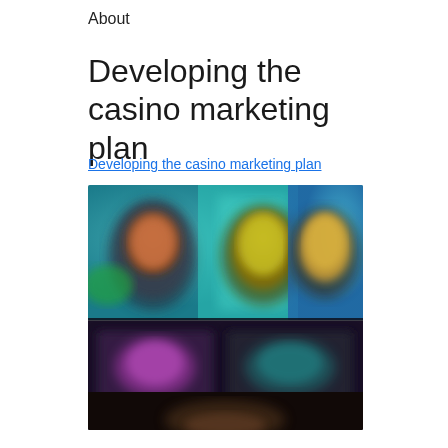About
Developing the casino marketing plan
Developing the casino marketing plan
[Figure (photo): Blurred casino gaming interface showing colorful slot machine characters and game thumbnails on a digital display screen]